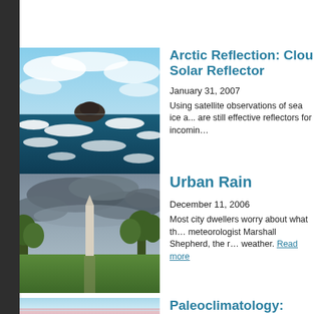[Figure (photo): Aerial view of Arctic sea ice and dark ocean water with rocky island]
Arctic Reflection: Clo... Solar Reflector
January 31, 2007
Using satellite observations of sea ice a... are still effective reflectors for incomin...
[Figure (photo): Washington Monument on the National Mall with cloudy stormy sky]
Urban Rain
December 11, 2006
Most city dwellers worry about what th... meteorologist Marshall Shepherd, the r... weather. Read more
[Figure (photo): Paleoclimatology image - light blue and pink abstract/horizon]
Paleoclimatology: Und... the Future